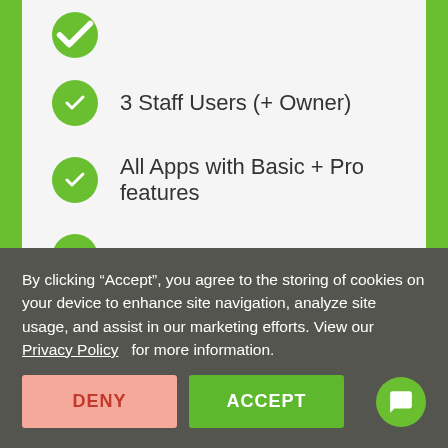3 Staff Users (+ Owner)
All Apps with Basic + Pro features
Priority Customer Support
Login to Upgrade
By clicking “Accept”, you agree to the storing of cookies on your device to enhance site navigation, analyze site usage, and assist in our marketing efforts. View our Privacy Policy  for more information.
DENY
ACCEPT